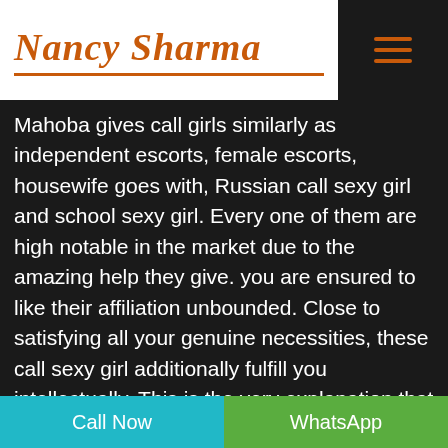Nancy Sharma
Mahoba gives call girls similarly as independent escorts, female escorts, housewife goes with, Russian call sexy girl and school sexy girl. Every one of them are high notable in the market due to the amazing help they give. you are ensured to like their affiliation unbounded. Close to satisfying all your genuine necessities, these call sexy girl additionally fulfill you intellectually. This is the very explanation that various clients visit these call girls dependably. You have the choice of having some discussion with their clients to explore focal data about their service. You are logical going to get positive responses and reaction from these customers. These call
Call Now   WhatsApp